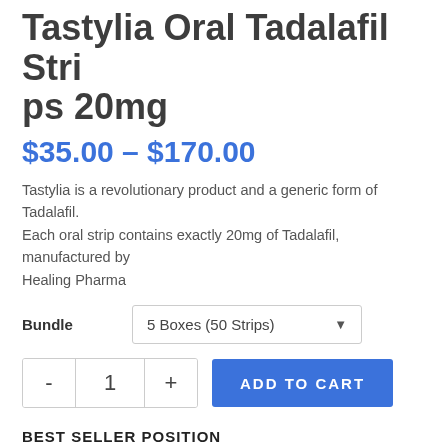Tastylia Oral Tadalafil Strips 20mg
$35.00 – $170.00
Tastylia is a revolutionary product and a generic form of Tadalafil. Each oral strip contains exactly 20mg of Tadalafil, manufactured by Healing Pharma
Bundle: 5 Boxes (50 Strips)
- 1 + ADD TO CART
BEST SELLER POSITION
No. 2 In Tadalafil